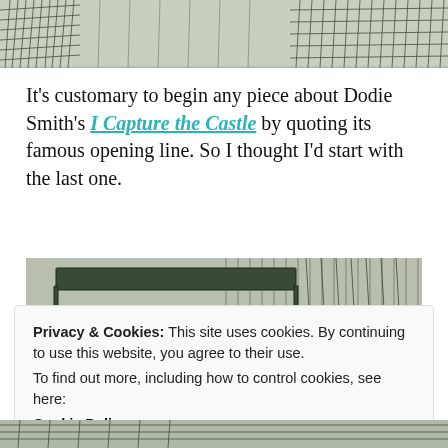[Figure (illustration): Black and white ink illustration of trees and foliage at the top of the page]
It’s customary to begin any piece about Dodie Smith’s I Capture the Castle by quoting its famous opening line. So I thought I’d start with the last one.
[Figure (illustration): Black and white ink illustration of a castle interior with cross-hatched wooden fence/gate and stone walls]
Privacy & Cookies: This site uses cookies. By continuing to use this website, you agree to their use. To find out more, including how to control cookies, see here: Cookie Policy
[Figure (illustration): Black and white ink illustration at bottom of page]